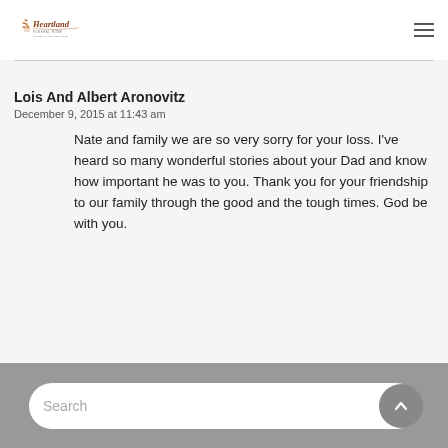Heartland Funeral Home & Cremation Services
Lois And Albert Aronovitz
December 9, 2015 at 11:43 am
Nate and family we are so very sorry for your loss. I've heard so many wonderful stories about your Dad and know how important he was to you. Thank you for your friendship to our family through the good and the tough times. God be with you.
Search